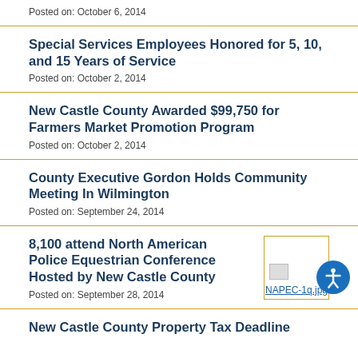Posted on: October 6, 2014
Special Services Employees Honored for 5, 10, and 15 Years of Service
Posted on: October 2, 2014
New Castle County Awarded $99,750 for Farmers Market Promotion Program
Posted on: October 2, 2014
County Executive Gordon Holds Community Meeting In Wilmington
Posted on: September 24, 2014
8,100 attend North American Police Equestrian Conference Hosted by New Castle County
[Figure (photo): Thumbnail image labeled NAPEC-1q.jpg with a small image icon and a gold border]
Posted on: September 28, 2014
New Castle County Property Tax Deadline